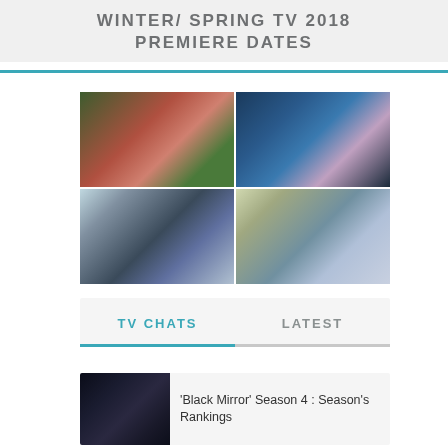WINTER/ SPRING TV 2018 PREMIERE DATES
[Figure (photo): Four-panel collage of TV show images: top-left shows a woman in a red handmaid costume in a forest; top-right shows a woman in a blue gown with a tiara; bottom-left shows a martial arts action scene in snow; bottom-right shows two women on a motorcycle outdoors.]
TV CHATS
LATEST
[Figure (photo): Dark thumbnail image showing a broken mirror or glass with a smiley face, associated with Black Mirror Season 4.]
'Black Mirror' Season 4 : Season's Rankings